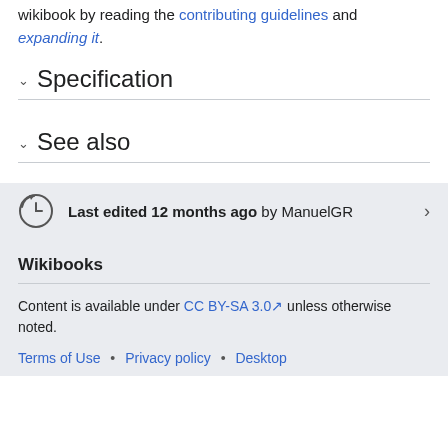wikibook by reading the contributing guidelines and expanding it.
Specification
See also
Last edited 12 months ago by ManuelGR
Wikibooks
Content is available under CC BY-SA 3.0 unless otherwise noted.
Terms of Use • Privacy policy • Desktop